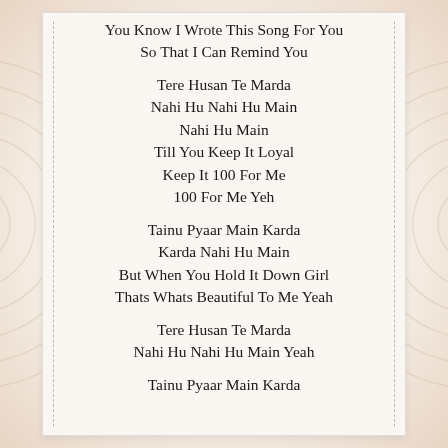You Know I Wrote This Song For You
So That I Can Remind You
Tere Husan Te Marda
Nahi Hu Nahi Hu Main
Nahi Hu Main
Till You Keep It Loyal
Keep It 100 For Me
100 For Me Yeh
Tainu Pyaar Main Karda
Karda Nahi Hu Main
But When You Hold It Down Girl
Thats Whats Beautiful To Me Yeah
Tere Husan Te Marda
Nahi Hu Nahi Hu Main Yeah
Tainu Pyaar Main Karda